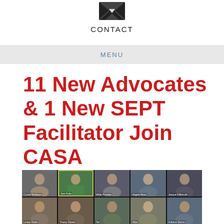[Figure (logo): Email/message envelope icon in dark color]
CONTACT
MENU
11 New Advocates & 1 New SEPT Facilitator Join CASA
[Figure (photo): Screenshot of a Zoom video call showing 10 participants in a 2-row, 5-column grid. Top row names: Crystal Erickson, Keri Kuhn, Mittle Poskabi, Angela Moss, Jacque Dillemuth. Bottom row names: Linsey Robin, Tracey Dionel, Teri, Alice, Adriana Sterns.]